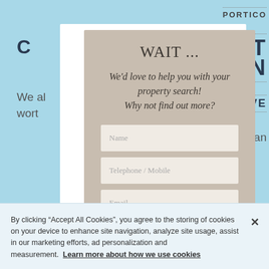[Figure (screenshot): Background webpage with light blue background showing partial text fragments: PORTICO, NT, ION, VE, C, and body text partially visible behind a modal dialog.]
WAIT ...
We'd love to help you with your property search! Why not find out more?
Name
Telephone / Mobile
Email
By clicking “Accept All Cookies”, you agree to the storing of cookies on your device to enhance site navigation, analyze site usage, assist in our marketing efforts, ad personalization and measurement.  Learn more about how we use cookies